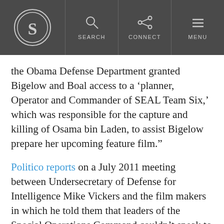Snopes logo navigation bar with SEARCH, CONNECT, MENU
the Obama Defense Department granted Bigelow and Boal access to a ‘planner, Operator and Commander of SEAL Team Six,’ which was responsible for the capture and killing of Osama bin Laden, to assist Bigelow prepare her upcoming feature film.”
Politico reports on a July 2011 meeting between Undersecretary of Defense for Intelligence Mike Vickers and the film makers in which he told them that leaders of the Special Operations Command couldn’t speak to them for appearances’ sake, but that they would make available a Navy SEAL who was involved in planning the raid from its earliest stages. According to Politico, that meeting occurred just weeks after the Pentagon and CIA warned against the